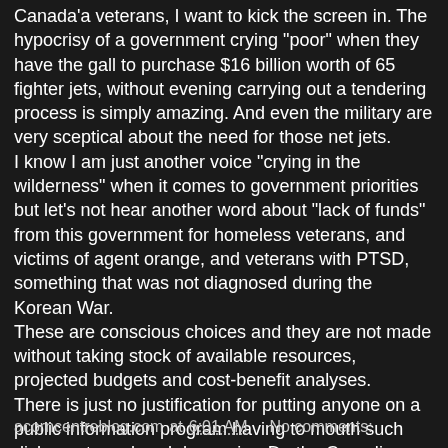Canada'a veterans, I want to kick the screen in. The hypocrisy of a government crying "poor" when they have the gall to purchase $16 billion worth of 65 fighter jets, without evening carrying out a tendering process is simply amazing. And even the military are very sceptical about the need for those net jets.
I know I am just another voice "crying in the wilderness" when it comes to government priorities but let's not hear another word about "lack of funds" from this government for homeless veterans, and victims of agent orange, and veterans with PTSD, something that was not diagnosed during the Korean War.
These are conscious choices and they are not made without taking stock of available resources, projected budgets and cost-benefit analyses.
There is just no justification for putting anyone on a public information program having to mouth such dishonesty and such hypocrisy. Do the Canadian people not deserve better from our government?
acorncentreblog.com at 6:01 AM    No comments: